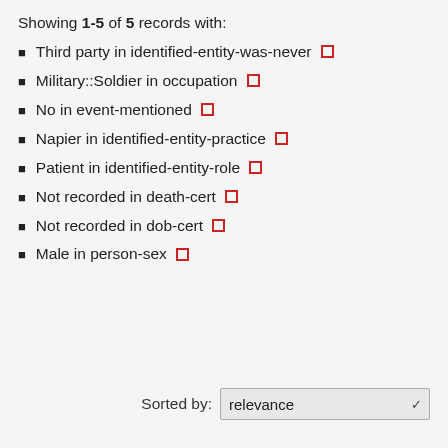Showing 1-5 of 5 records with:
Third party in identified-entity-was-never
Military::Soldier in occupation
No in event-mentioned
Napier in identified-entity-practice
Patient in identified-entity-role
Not recorded in death-cert
Not recorded in dob-cert
Male in person-sex
Sorted by: relevance